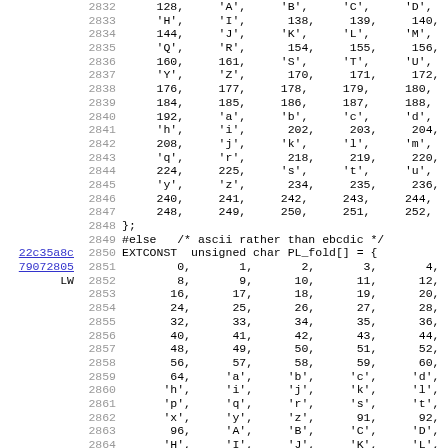Source code listing with line numbers 2832-2864, showing C array initialization code
22c35a8c (link)
79072805 (link)
LW